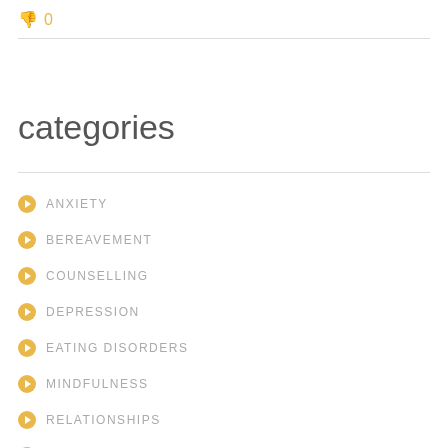👎 0
categories
ANXIETY
BEREAVEMENT
COUNSELLING
DEPRESSION
EATING DISORDERS
MINDFULNESS
RELATIONSHIPS
SLEEPING DISORDER